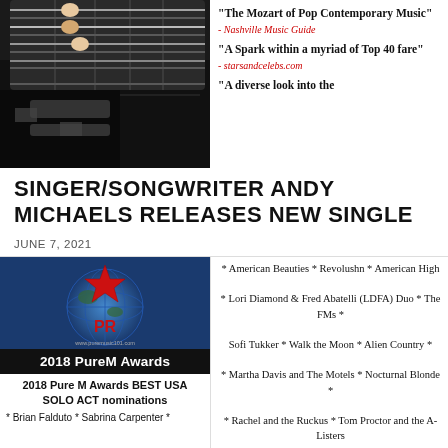[Figure (photo): Close-up of a person's hands playing a dark electric bass guitar]
"The Mozart of Pop Contemporary Music"
- Nashville Music Guide
"A Spark within a myriad of Top 40 fare"
- starsandcelebs.com
"A diverse look into the
SINGER/SONGWRITER ANDY MICHAELS RELEASES NEW SINGLE
JUNE 7, 2021
[Figure (logo): 2018 PureM Awards logo with red star on globe]
2018 Pure M Awards BEST USA SOLO ACT nominations
* Brian Falduto * Sabrina Carpenter *
* American Beauties * Revolushn * American High
* Lori Diamond & Fred Abatelli (LDFA) Duo * The FMs *
Sofi Tukker * Walk the Moon * Alien Country *
* Martha Davis and The Motels * Nocturnal Blonde *
* Rachel and the Ruckus * Tom Proctor and the A-Listers
* Young Rising Sons * Sluka *